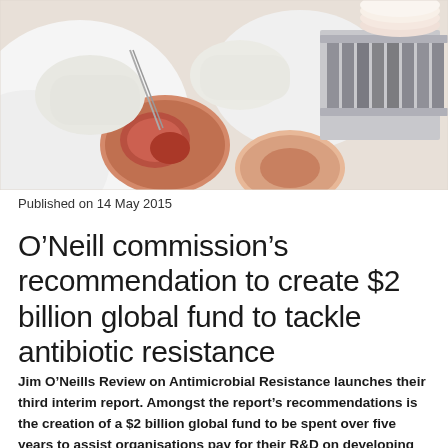[Figure (photo): Laboratory photo showing scientists in white gloves working with petri dishes containing red/pink bacterial cultures and test tube racks in the background]
Published on 14 May 2015
O'Neill commission's recommendation to create $2 billion global fund to tackle antibiotic resistance
Jim O'Neills Review on Antimicrobial Resistance launches their third interim report. Amongst the report's recommendations is the creation of a $2 billion global fund to be spent over five years to assist organisations pay for their R&D on developing new antibiotics. Grants will be awarded from this fund, which